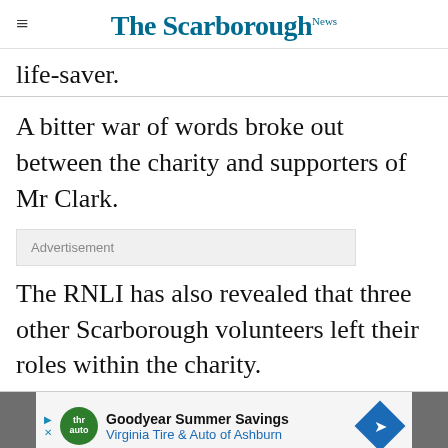The Scarborough News
life-saver.
A bitter war of words broke out between the charity and supporters of Mr Clark.
Advertisement
The RNLI has also revealed that three other Scarborough volunteers left their roles within the charity.
[Figure (other): Goodyear Summer Savings – Virginia Tire & Auto of Ashburn advertisement banner]
Get 70% fewer ads. Start your 2-month trial for just £2 per month   Subscribe Today